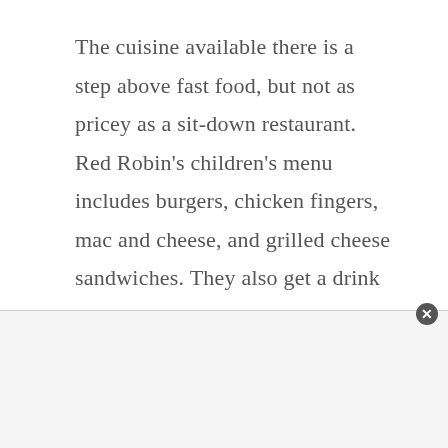The cuisine available there is a step above fast food, but not as pricey as a sit-down restaurant. Red Robin's children's menu includes burgers, chicken fingers, mac and cheese, and grilled cheese sandwiches. They also get a drink and a little sundae.